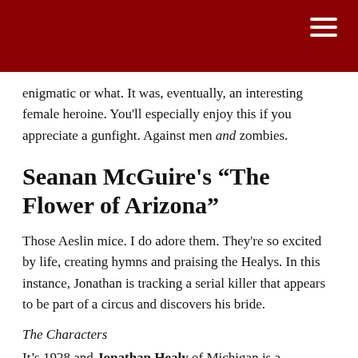enigmatic or what. It was, eventually, an interesting female heroine. You'll especially enjoy this if you appreciate a gunfight. Against men and zombies.
Seanan McGuire's “The Flower of Arizona”
Those Aeslin mice. I do adore them. They're so excited by life, creating hymns and praising the Healys. In this instance, Jonathan is tracking a serial killer that appears to be part of a circus and discovers his bride.
The Characters
It’s 1928 and Jonathan Healy of Michigan is a cryptozoologist hunting in Tempe, Arizona.
Frances Brown, a trick rider who's good with knives, is the star, the Flower of Arizona, of the Campbell Family Circus,